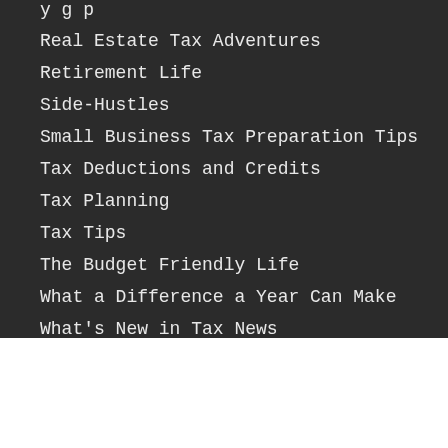Real Estate Tax Adventures
Retirement Life
Side-Hustles
Small Business Tax Preparation Tips
Tax Deductions and Credits
Tax Planning
Tax Tips
The Budget Friendly Life
What a Difference a Year Can Make
What's New in Tax News